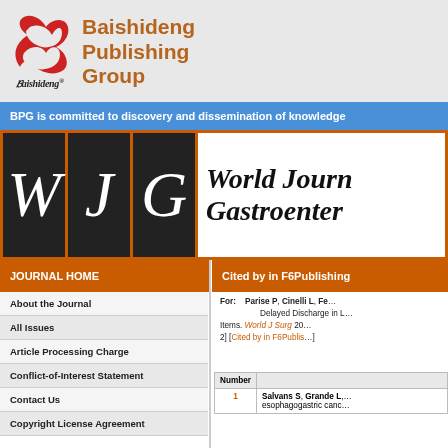[Figure (logo): Baishideng Publishing Group logo with red stylized 'B' icon and cursive 'Baishideng' wordmark]
Baishideng Publishing Group
BPG is committed to discovery and dissemination of knowledge
[Figure (logo): World Journal of Gastroenterology (WJG) banner with three black boxes containing italic W, J, G letters in white on dark background]
JOURNAL HOME
Cited by in F6Publishing
About the Journal
All Issues
Article Processing Charge
Conflict-of-Interest Statement
Contact Us
Copyright License Agreement
For: Parise P, Cinelli L, Fe... Delayed Discharge in L... Items. World J Surg 20... 2] [Cited by in F6Publis...
| Number |  |
| --- | --- |
| 1 | Salvans S, Grande L,... esophagogastric canc... |